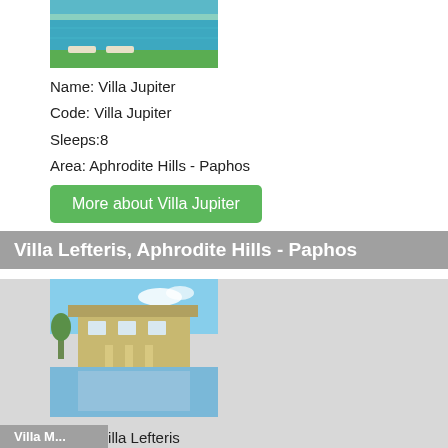[Figure (photo): Aerial/pool view of Villa Jupiter with loungers and grass]
Name: Villa Jupiter
Code: Villa Jupiter
Sleeps:8
Area: Aphrodite Hills - Paphos
More about Villa Jupiter
Villa Lefteris, Aphrodite Hills - Paphos
[Figure (photo): Photo of Villa Lefteris with pool reflection]
Name: Villa Lefteris
Code: Villa Lefteris
Sleeps:10
Area: Aphrodite Hills - Paphos
Mo
Prices and availability at Villa Orestes ❯
Villa M...